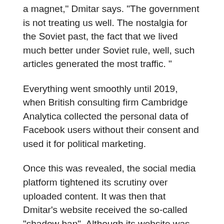a magnet,” Dmitar says. “The government is not treating us well. The nostalgia for the Soviet past, the fact that we lived much better under Soviet rule, well, such articles generated the most traffic. ”
Everything went smoothly until 2019, when British consulting firm Cambridge Analytica collected the personal data of Facebook users without their consent and used it for political marketing.
Once this was revealed, the social media platform tightened its scrutiny over uploaded content. It was then that Dmitar’s website received the so-called “shadow ban”. Although its website was not banned from Facebook, the platform’s algorithms no longer showed content to users.
“These types of websites live and die from their Facebook traffic,” Dmitar said. He no longer earned as much money as before, so he completely stopped running the portal.